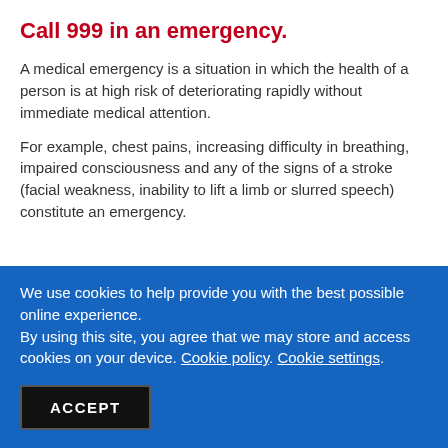Call 999 in an emergency.
A medical emergency is a situation in which the health of a person is at high risk of deteriorating rapidly without immediate medical attention.
For example, chest pains, increasing difficulty in breathing, impaired consciousness and any of the signs of a stroke (facial weakness, inability to lift a limb or slurred speech) constitute an emergency.
We use cookies to help provide you with the best possible online experience. By using this site, you agree that we may store and access cookies on your device. Cookie policy. Cookie settings.
ACCEPT